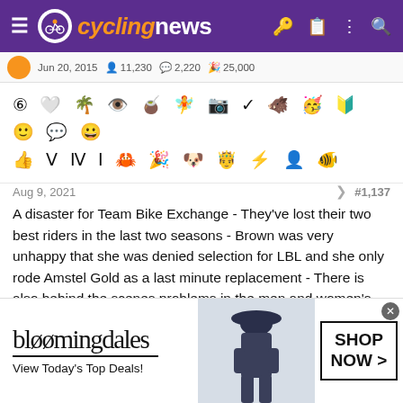cyclingnews
Jun 20, 2015   11,230   2,220   25,000
[Figure (infographic): Row of forum achievement/badge icons in black silhouette style]
Aug 9, 2021   #1,137
A disaster for Team Bike Exchange - They've lost their two best riders in the last two seasons - Brown was very unhappy that she was denied selection for LBL and she only rode Amstel Gold as a last minute replacement - There is also behind the scenes problems in the men and women's team, which has resulted in an external review happening.
Last edited: Aug 9, 2021
Samu Cuenca
[Figure (infographic): Bloomingdale's advertisement banner - View Today's Top Deals! SHOP NOW >]